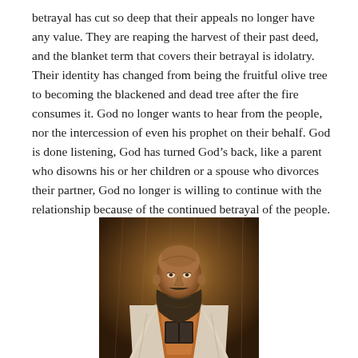betrayal has cut so deep that their appeals no longer have any value. They are reaping the harvest of their past deed, and the blanket term that covers their betrayal is idolatry. Their identity has changed from being the fruitful olive tree to becoming the blackened and dead tree after the fire consumes it. God no longer wants to hear from the people, nor the intercession of even his prophet on their behalf. God is done listening, God has turned God's back, like a parent who disowns his or her children or a spouse who divorces their partner, God no longer is willing to continue with the relationship because of the continued betrayal of the people.
[Figure (illustration): A painted illustration of an elderly bearded prophet or monk figure, bald-headed, wearing a white robe with an orange/brown sash, holding a dark book, set against a warm brown textured background. The style is dark and moody oil-painting-like.]